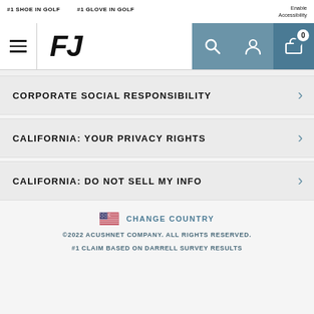#1 SHOE IN GOLF  #1 GLOVE IN GOLF  Enable Accessibility
[Figure (logo): FootJoy FJ logo with hamburger menu and navigation icons for search, account, and cart showing 0 items]
CORPORATE SOCIAL RESPONSIBILITY
CALIFORNIA: YOUR PRIVACY RIGHTS
CALIFORNIA: DO NOT SELL MY INFO
CHANGE COUNTRY
©2022 ACUSHNET COMPANY. ALL RIGHTS RESERVED.
#1 CLAIM BASED ON DARRELL SURVEY RESULTS